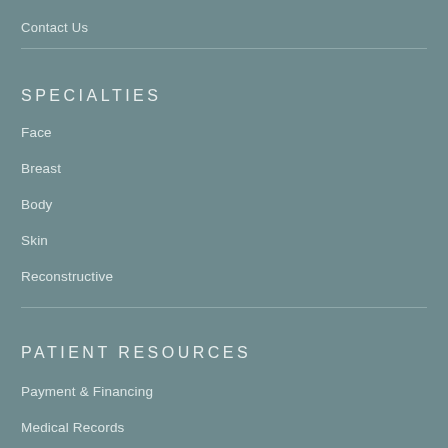Contact Us
SPECIALTIES
Face
Breast
Body
Skin
Reconstructive
PATIENT RESOURCES
Payment & Financing
Medical Records
Client Testimonials